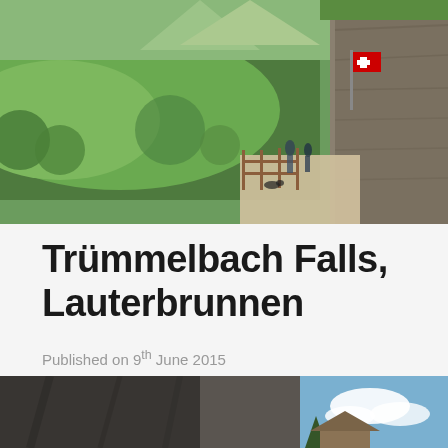[Figure (photo): Outdoor mountain trail scene with lush green valley, rocky cliff face, visitors on a path, and a Swiss flag visible in the background]
Trümmelbach Falls, Lauterbrunnen
Published on 9th June 2015
View larger
[Figure (photo): Bottom portion of a dramatic rocky cliff face under blue sky with clouds, partial view of a building roof]